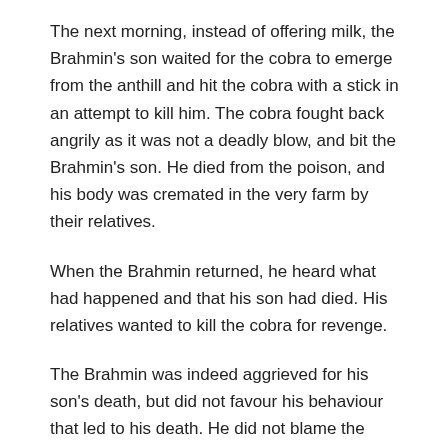The next morning, instead of offering milk, the Brahmin's son waited for the cobra to emerge from the anthill and hit the cobra with a stick in an attempt to kill him. The cobra fought back angrily as it was not a deadly blow, and bit the Brahmin's son. He died from the poison, and his body was cremated in the very farm by their relatives.
When the Brahmin returned, he heard what had happened and that his son had died. His relatives wanted to kill the cobra for revenge.
The Brahmin was indeed aggrieved for his son's death, but did not favour his behaviour that led to his death. He did not blame the cobra, and defended the cobra's action.
The next morning, the Brahmin went to offer milk to the cobra as usual. He stood near the anthill and started praying. On hearing this, the cobra came out of the anthill and confronted him.